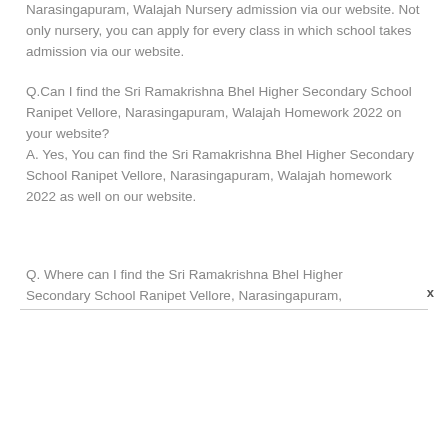Narasingapuram, Walajah Nursery admission via our website. Not only nursery, you can apply for every class in which school takes admission via our website.
Q.Can I find the Sri Ramakrishna Bhel Higher Secondary School Ranipet Vellore, Narasingapuram, Walajah Homework 2022 on your website? A. Yes, You can find the Sri Ramakrishna Bhel Higher Secondary School Ranipet Vellore, Narasingapuram, Walajah homework 2022 as well on our website.
Q. Where can I find the Sri Ramakrishna Bhel Higher Secondary School Ranipet Vellore, Narasingapuram,